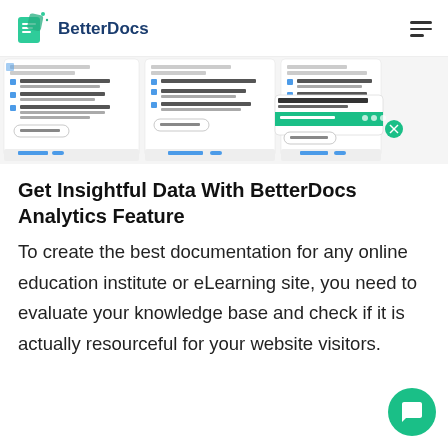BetterDocs
[Figure (screenshot): Screenshot of the BetterDocs plugin interface showing documentation categories: Getting Started, Learning, Reviews, with articles listed and a chat widget overlay]
Get Insightful Data With BetterDocs Analytics Feature
To create the best documentation for any online education institute or eLearning site, you need to evaluate your knowledge base and check if it is actually resourceful for your website visitors.